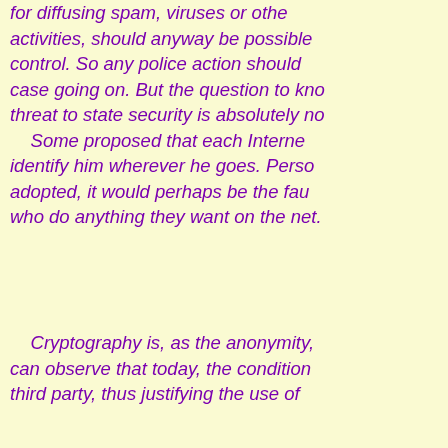for diffusing spam, viruses or other activities, should anyway be possible control. So any police action should case going on. But the question to kno threat to state security is absolutely no Some proposed that each Interne identify him wherever he goes. Perso adopted, it would perhaps be the fau who do anything they want on the net.
Cryptography is, as the anonymity, can observe that today, the condition third party, thus justifying the use of